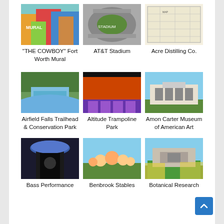[Figure (photo): Colorful mural on a wall — "THE COWBOY" Fort Worth Mural]
"THE COWBOY" Fort Worth Mural
[Figure (photo): Aerial view of AT&T Stadium]
AT&T Stadium
[Figure (photo): Vintage map — Acre Distilling Co.]
Acre Distilling Co.
[Figure (photo): Waterfall and conservation area — Airfield Falls Trailhead & Conservation Park]
Airfield Falls Trailhead & Conservation Park
[Figure (photo): Indoor trampoline park with orange walls — Altitude Trampoline Park]
Altitude Trampoline Park
[Figure (photo): Museum building exterior — Amon Carter Museum of American Art]
Amon Carter Museum of American Art
[Figure (photo): Interior of performance hall — Bass Performance]
Bass Performance
[Figure (photo): Group of people outdoors — Benbrook Stables]
Benbrook Stables
[Figure (photo): Building with flowers in foreground — Botanical Research]
Botanical Research